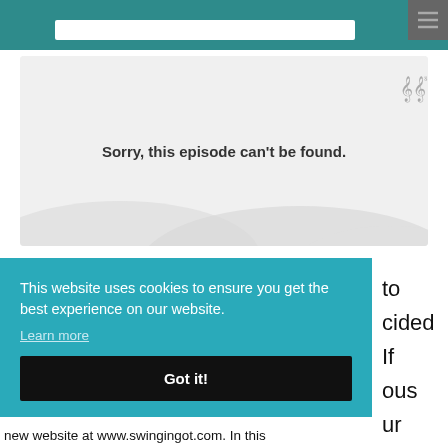[Figure (screenshot): Website header with teal navigation bar and search input]
[Figure (screenshot): Podcast episode not found card with grey background, hills silhouette, and audio waveform icon]
Sorry, this episode can't be found.
This website uses cookies to ensure you get the best experience on our website.
Learn more
Got it!
to cided If ous ur
new website at www.swingingot.com. In this